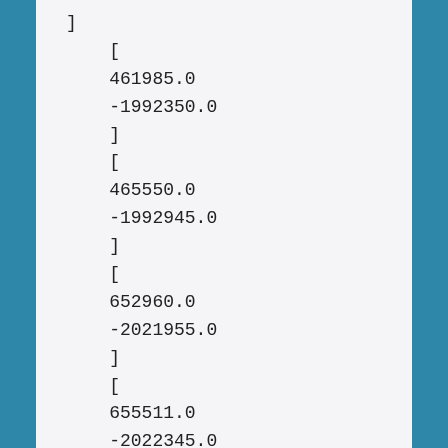]
    [
    461985.0
    -1992350.0
    ]
    [
    465550.0
    -1992945.0
    ]
    [
    652960.0
    -2021955.0
    ]
    [
    655511.0
    -2022345.0
    ]
    [
    655662.0
    -2022328.0